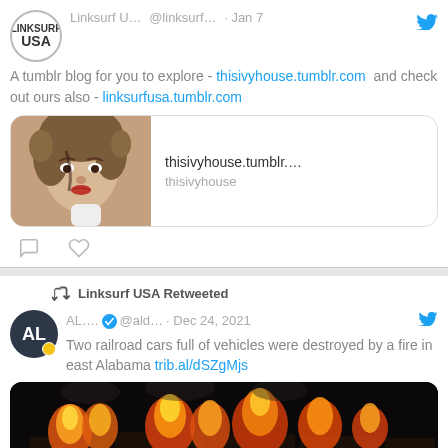[Figure (screenshot): Twitter/social media feed screenshot showing two tweet cards. First tweet from Linksurf USA dated Jan 7 about a tumblr blog with a link preview showing thisivyhouse.tumblr.com with a vintage woman portrait. Second tweet is a retweet by Linksurf USA from AL... @ald... dated Dec 24, 2021 about two railroad cars destroyed by fire in east Alabama with a dark photo of fire.]
Linksurf U... @linksurf... · Jan 7
A tumblr blog for you to explore - thisivyhouse.tumblr.com and check out ours also - linksurfusa.tumblr.com
thisivyhouse.tumblr.…
thisivyhouse
Linksurf USA Retweeted
AL.... @ald... · Dec 24, 2021
Two railroad cars full of vehicles were destroyed by a fire in east Alabama trib.al/dSZgMjs